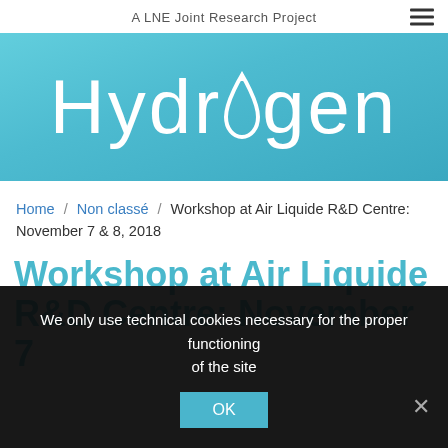A LNE Joint Research Project
[Figure (logo): Hydrogen project logo: large white text 'Hydrogen' with a water drop shape replacing the 'o', on a light blue gradient background banner]
Home / Non classé / Workshop at Air Liquide R&D Centre: November 7 & 8, 2018
Workshop at Air Liquide R&D Centre: November 7
We only use technical cookies necessary for the proper functioning of the site